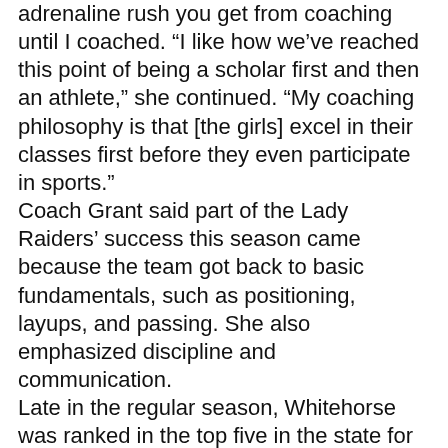adrenaline rush you get from coaching until I coached. “I like how we’ve reached this point of being a scholar first and then an athlete,” she continued. “My coaching philosophy is that [the girls] excel in their classes first before they even participate in sports.” Coach Grant said part of the Lady Raiders’ success this season came because the team got back to basic fundamentals, such as positioning, layups, and passing. She also emphasized discipline and communication. Late in the regular season, Whitehorse was ranked in the top five in the state for 1A girls teams. But they suffered a loss to Monticello and two to Monument Valley headed down the stretch that brought them back down to earth. Grant said the losses were a walk-up call for the girls. “They were looking too far ahead and just looking to get to state,” she explained. She said the week-long break leading up to the state tournament was necessary and gave the team a chance to regroup. “Even though we’re at the end of our season, we